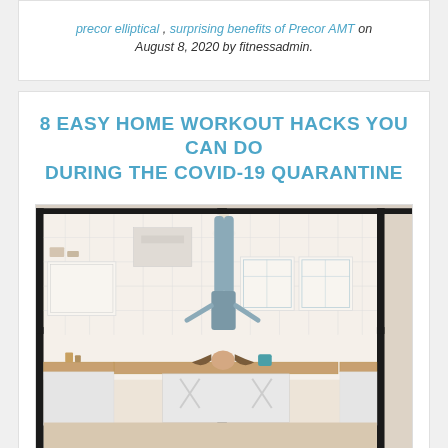precor elliptical , surprising benefits of Precor AMT on August 8, 2020 by fitnessadmin.
8 EASY HOME WORKOUT HACKS YOU CAN DO DURING THE COVID-19 QUARANTINE
[Figure (photo): Woman doing a headstand on a kitchen counter island, wearing light blue workout clothes, in a bright white kitchen with glass-front cabinets, viewed through large black-framed windows/doors.]